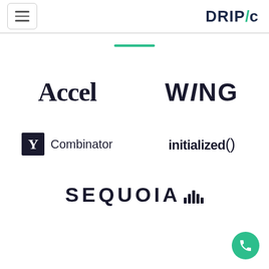[Figure (logo): DRIPc company logo in top right header]
[Figure (logo): Accel venture capital logo]
[Figure (logo): WiNG logo]
[Figure (logo): Y Combinator logo]
[Figure (logo): Initialized Capital logo]
[Figure (logo): Sequoia Capital logo]